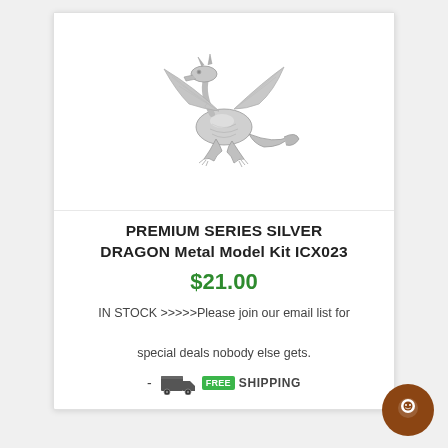[Figure (photo): Silver metal dragon model kit product photo on white background]
PREMIUM SERIES SILVER DRAGON Metal Model Kit ICX023
$21.00
IN STOCK >>>>>Please join our email list for special deals nobody else gets.
[Figure (infographic): Free shipping badge with truck icon]